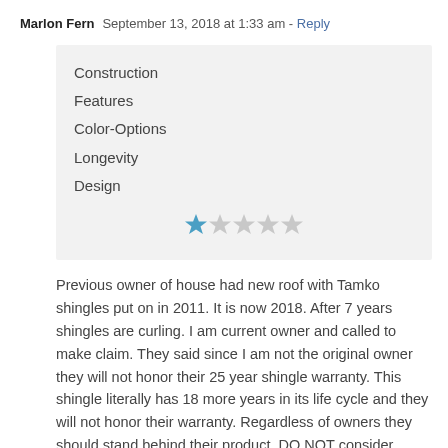Marlon Fern   September 13, 2018 at 1:33 am - Reply
Construction
Features
Color-Options
Longevity
Design
[Figure (other): 1 out of 5 stars rating: one filled blue star followed by four empty grey stars]
Previous owner of house had new roof with Tamko shingles put on in 2011. It is now 2018. After 7 years shingles are curling. I am current owner and called to make claim. They said since I am not the original owner they will not honor their 25 year shingle warranty. This shingle literally has 18 more years in its life cycle and they will not honor their warranty. Regardless of owners they should stand behind their product. DO NOT consider buying this shingle. Its poor quality and they may not be willing to help you if their is an issue.